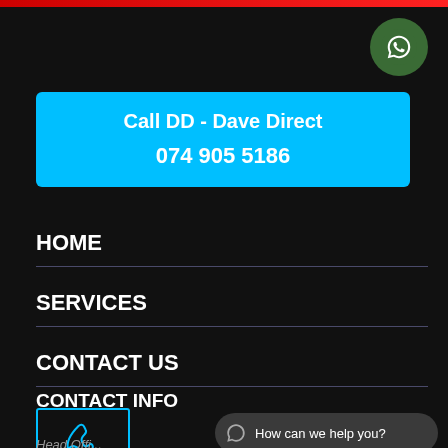[Figure (other): Red horizontal bar at top of page]
[Figure (logo): WhatsApp circular green button icon in top right corner]
Call DD - Dave Direct
074 905 5186
HOME
SERVICES
CONTACT US
CONTACT INFO
[Figure (illustration): Phone/telephone icon inside a cyan-bordered rectangle]
How can we help you?